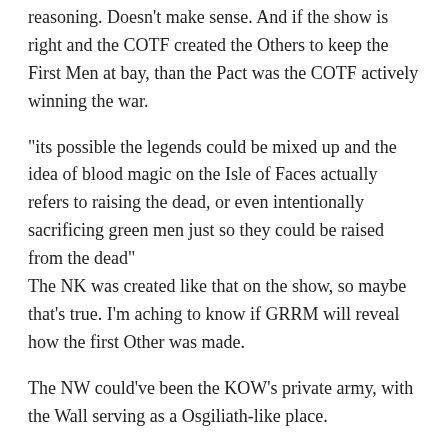reasoning. Doesn't make sense. And if the show is right and the COTF created the Others to keep the First Men at bay, than the Pact was the COTF actively winning the war.
“its possible the legends could be mixed up and the idea of blood magic on the Isle of Faces actually refers to raising the dead, or even intentionally sacrificing green men just so they could be raised from the dead”
The NK was created like that on the show, so maybe that’s true. I’m aching to know if GRRM will reveal how the first Other was made.
The NW could’ve been the KOW’s private army, with the Wall serving as a Osgiliath-like place.